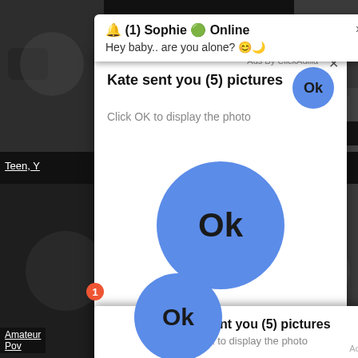[Figure (screenshot): Dark background with video thumbnails — adult content website with overlaid browser notification ads]
🔔 (1) Sophie 🟢 Online
Hey baby.. are you alone? 😊🌙
Ads By ClickAdilla
Kate sent you (5) pictures
Click OK to display the photo
Ok
Ok
25:36
Teen, Y
cqo
1
Kate sent you (5) pictures
Click OK to display the photo
Ok
Amateur Pov
Ads By ClickAdilla  cqo